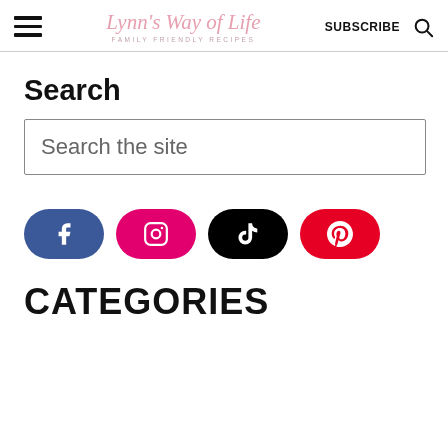Lynn's Way of Life — FAMILY FRIENDLY RECIPES — SUBSCRIBE
Search
Search the site
[Figure (infographic): Four social media icon buttons: Facebook (blue rounded rectangle), Instagram (pink rounded rectangle), TikTok (black rounded rectangle), Pinterest (red rounded rectangle)]
CATEGORIES